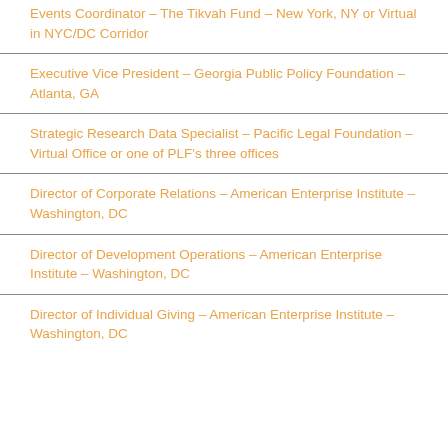Events Coordinator – The Tikvah Fund – New York, NY or Virtual in NYC/DC Corridor
Executive Vice President – Georgia Public Policy Foundation – Atlanta, GA
Strategic Research Data Specialist – Pacific Legal Foundation – Virtual Office or one of PLF's three offices
Director of Corporate Relations – American Enterprise Institute – Washington, DC
Director of Development Operations – American Enterprise Institute – Washington, DC
Director of Individual Giving – American Enterprise Institute – Washington, DC